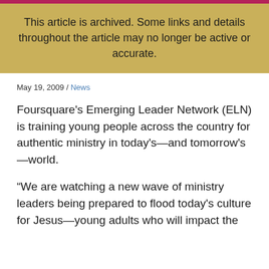This article is archived. Some links and details throughout the article may no longer be active or accurate.
May 19, 2009 / News
Foursquare's Emerging Leader Network (ELN) is training young people across the country for authentic ministry in today's—and tomorrow's—world.
“We are watching a new wave of ministry leaders being prepared to flood today's culture for Jesus—young adults who will impact the